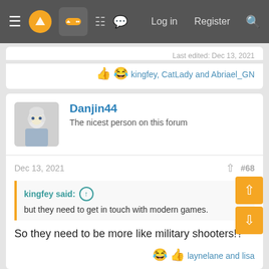Navigation bar with hamburger menu, logo, gamepad icon, grid icon, chat icon, Log in, Register, Search
Last edited: Dec 13, 2021
👍 😂 kingfey, CatLady and Abriael_GN
Danjin44
The nicest person on this forum
Dec 13, 2021
#68
kingfey said: ↑
but they need to get in touch with modern games.
So they need to be more like military shooters!?
😂 👍 laynelane and lisa
Vagswarm